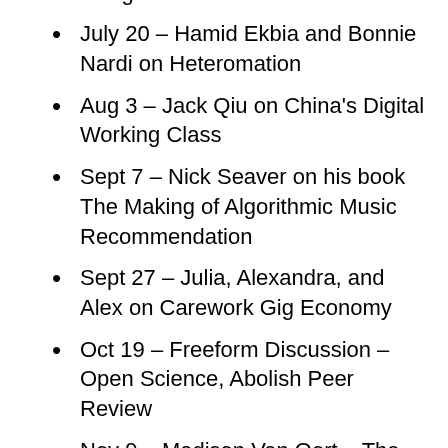Gray's book manuscript – Post on Google Doc
July 20 – Hamid Ekbia and Bonnie Nardi on Heteromation
Aug 3 – Jack Qiu on China's Digital Working Class
Sept 7 – Nick Seaver on his book The Making of Algorithmic Music Recommendation
Sept 27 – Julia, Alexandra, and Alex on Carework Gig Economy
Oct 19 – Freeform Discussion – Open Science, Abolish Peer Review
Nov 9 – Madison Van Oort – The